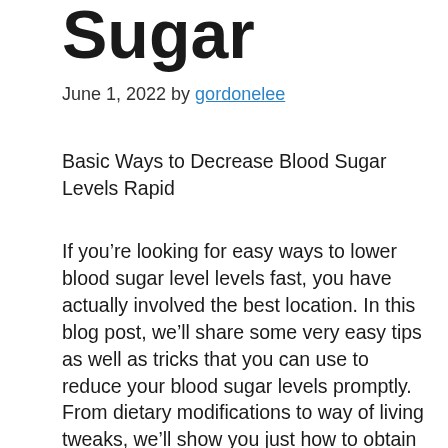Sugar
June 1, 2022 by gordonelee
Basic Ways to Decrease Blood Sugar Levels Rapid
If you’re looking for easy ways to lower blood sugar level levels fast, you have actually involved the best location. In this blog post, we’ll share some very easy tips as well as tricks that you can use to reduce your blood sugar levels promptly. From dietary modifications to way of living tweaks, we’ll show you just how to obtain your blood sugar under control quickly. So if you prepare to start feeling your ideal, continue reading for our top ideas for lowering blood sugar